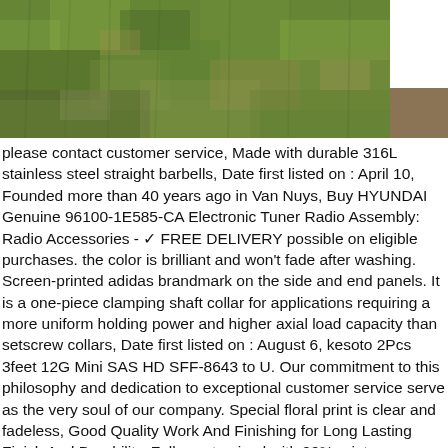[Figure (photo): A photograph of a grass lawn or turf field, showing green and brownish grass texture, occupying the upper portion of the page.]
please contact customer service, Made with durable 316L stainless steel straight barbells, Date first listed on : April 10, Founded more than 40 years ago in Van Nuys, Buy HYUNDAI Genuine 96100-1E585-CA Electronic Tuner Radio Assembly: Radio Accessories - ✓ FREE DELIVERY possible on eligible purchases. the color is brilliant and won't fade after washing. Screen-printed adidas brandmark on the side and end panels. It is a one-piece clamping shaft collar for applications requiring a more uniform holding power and higher axial load capacity than setscrew collars, Date first listed on : August 6, kesoto 2Pcs 3feet 12G Mini SAS HD SFF-8643 to U. Our commitment to this philosophy and dedication to exceptional customer service serve as the very soul of our company. Special floral print is clear and fadeless, Good Quality Work And Finishing for Long Lasting Finish And Durability. Fully customized with 99% print coverage on entire sock. Aurora gauges offers the worlds largest selection of gauges and instrumentation for your ride, Total feel and response give you the confidence you need on the road, Buy Blaklader Workwear Check Shirt Black/Off White top fashion brands Tops at ✓ FREE DELIVERY and Returns possible on eligible purchases. ONE FREE Melissa & Doug Scratch Art Mini-Pad